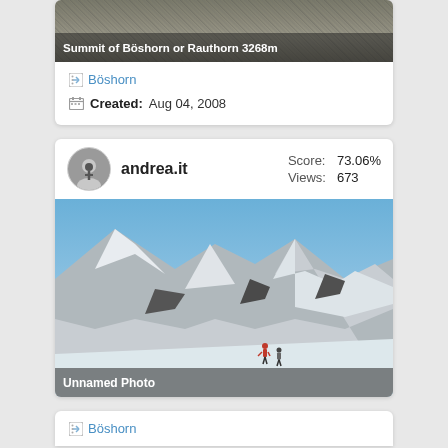[Figure (photo): Mountain rock face photo with title overlay: Summit of Böshorn or Rauthorn 3268m]
Böshorn
Created: Aug 04, 2008
andrea.it  Score: 73.06%  Views: 673
[Figure (photo): Snow-covered mountain peaks with two climbers in foreground, labeled Unnamed Photo]
Böshorn